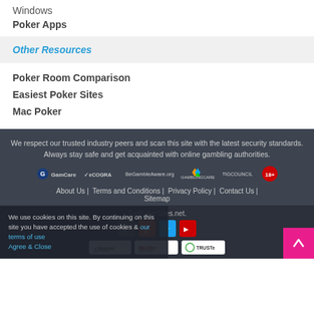Windows
Poker Apps
Other Resources
Poker Room Comparison
Easiest Poker Sites
Mac Poker
We respect our trusted industry peers and scan this site with the latest security standards. Always stay safe and get acquainted with online gambling authorities.
[Figure (logo): Trust logos: GamCare, eCOGRA, BeGambleAware.org, GamblingCare, iGCouncil, 18+]
About Us | Terms and Conditions | Privacy Policy | Contact Us | Sitemap
TopPokerSites.net.
[Figure (logo): Social media icons: Facebook, Google+, Twitter, YouTube]
[Figure (logo): Security seals: Norton Secured, McAfee Secure, TRUSTe]
We use cookies on this site. By continuing on this site you have accepted the use of cookies & our terms of use
Agree & Close